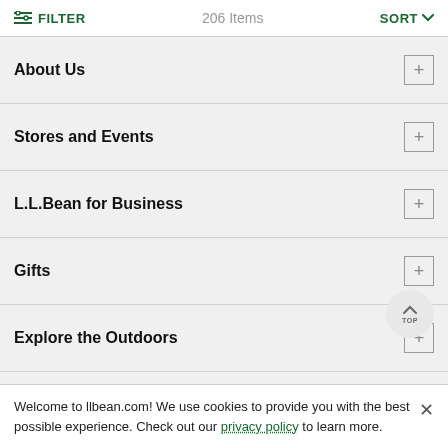FILTER   206 Items   SORT
About Us
Stores and Events
L.L.Bean for Business
Gifts
Explore the Outdoors
Sign Up for Email
Enjoy exclusive offers, the latest on products, and news to get outdoors. Details
Welcome to llbean.com! We use cookies to provide you with the best possible experience. Check out our privacy policy to learn more.